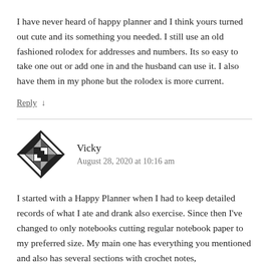I have never heard of happy planner and I think yours turned out cute and its something you needed. I still use an old fashioned rolodex for addresses and numbers. Its so easy to take one out or add one in and the husband can use it. I also have them in my phone but the rolodex is more current.
Reply ↓
[Figure (illustration): Geometric avatar icon with diamond and square pattern in black and white]
Vicky
August 28, 2020 at 10:16 am
I started with a Happy Planner when I had to keep detailed records of what I ate and drank also exercise. Since then I've changed to only notebooks cutting regular notebook paper to my preferred size. My main one has everything you mentioned and also has several sections with crochet notes, ...